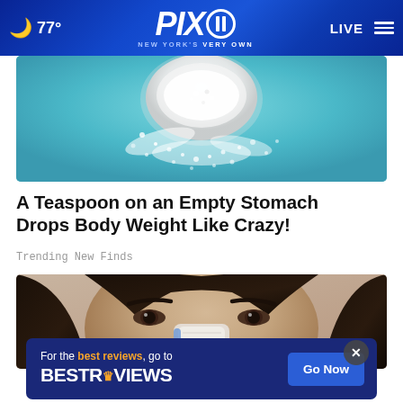🌙 77° PIX11 NEW YORK'S VERY OWN | LIVE
[Figure (photo): Top-down view of a white bowl with white powder/supplement spilled on a teal/aqua blue surface]
A Teaspoon on an Empty Stomach Drops Body Weight Like Crazy!
Trending New Finds
[Figure (photo): Close-up of a dark-haired woman's face holding a tissue or cotton pad to her nose]
For the best reviews, go to BESTREVIEWS — Go Now